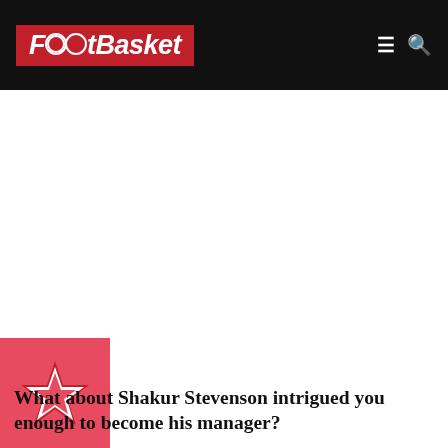FootBasket
What about Shakur Stevenson intrigued you enough to become his manager?
[Figure (logo): Red star/badge logo thumbnail image]